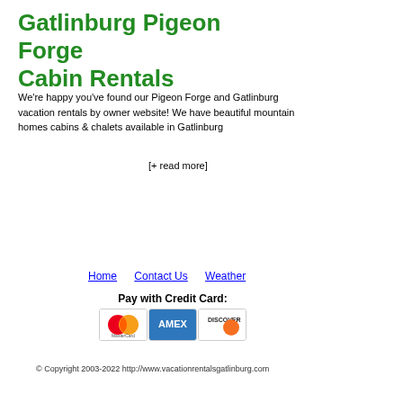Gatlinburg Pigeon Forge Cabin Rentals
We're happy you've found our Pigeon Forge and Gatlinburg vacation rentals by owner website! We have beautiful mountain homes cabins & chalets available in Gatlinburg
[+ read more]
Home   Contact Us   Weather
Pay with Credit Card:
[Figure (logo): MasterCard, AMEX, and Discover credit card logos]
© Copyright 2003-2022 http://www.vacationrentalsgatlinburg.com